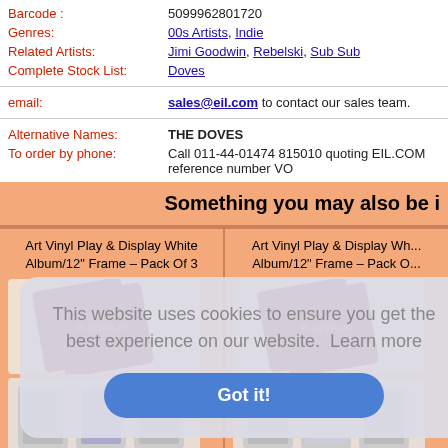Barcode: 5099962801720
Genres: 00s Artists, Indie
Related Artists: Jimi Goodwin, Rebelski, Sub Sub
Complete Stock List: Doves
email: sales@eil.com to contact our sales team.
Alternative Names: THE DOVES
To order by phone: Call 011-44-01474 815010 quoting EIL.COM reference number VO...
Something you may also be i...
Art Vinyl Play & Display White Album/12" Frame – Pack Of 3
[Figure (photo): Product photo of Art Vinyl Play & Display White Album/12 inch Frame Pack of 3, burgundy/wine colored box]
Art Vinyl Play & Display Wh... Album/12" Frame – Pack O...
[Figure (photo): Product photo of Art Vinyl Play & Display White Album/12 inch Frame, burgundy/wine colored box]
This website uses cookies to ensure you get the best experience on our website. Learn more
Got it!